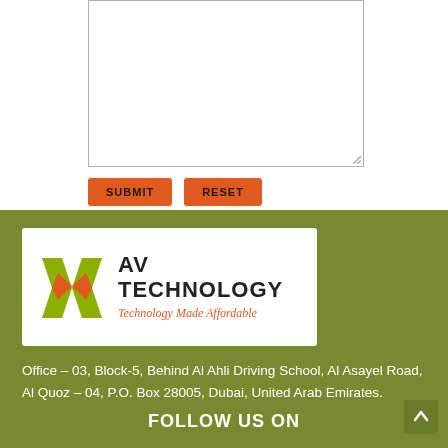[Figure (other): Text area input box (form element)]
SUBMIT   RESET
[Figure (logo): AV Technology logo with tagline 'Technology Made Affordable' on white background]
Office – 03, Block-5, Behind Al Ahli Driving School, Al Asayel Road, Al Quoz – 04, P.O. Box 28005, Dubai, United Arab Emirates.
FOLLOW US ON